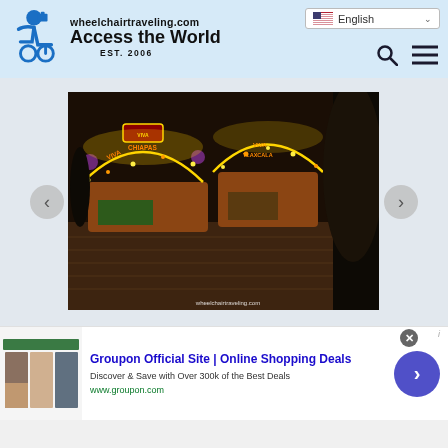wheelchairtraveling.com Access the World EST. 2006
[Figure (photo): Nighttime photo of decorated boats at a dock, lit with colorful lights, with signs reading VIVA CHIAPAS and VIVA TLAXCALA, wooden dock/boardwalk, watermark wheelchairtraveling.com]
Groupon Official Site | Online Shopping Deals
Discover & Save with Over 300k of the Best Deals
www.groupon.com